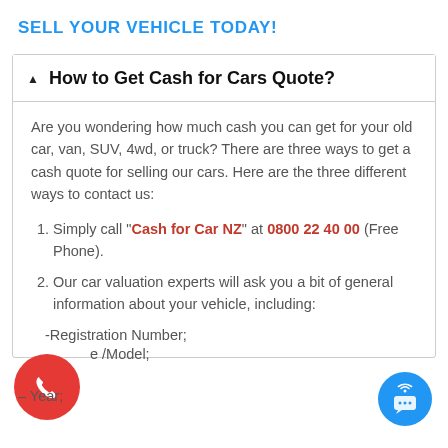SELL YOUR VEHICLE TODAY!
How to Get Cash for Cars Quote?
Are you wondering how much cash you can get for your old car, van, SUV, 4wd, or truck? There are three ways to get a cash quote for selling our cars. Here are the three different ways to contact us:
Simply call "Cash for Car NZ" at 0800 22 40 00 (Free Phone).
Our car valuation experts will ask you a bit of general information about your vehicle, including:
-Registration Number;
e /Model;
– Year;